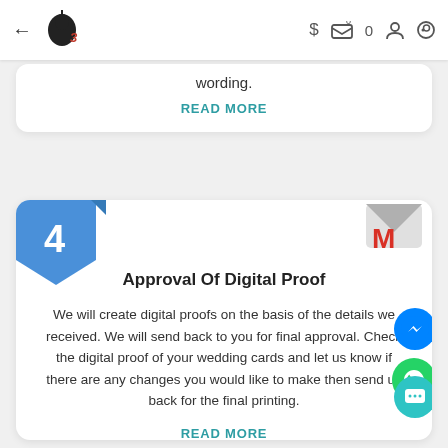← [logo] $ [cart] 0 [user] [search]
wording.
READ MORE
[Figure (infographic): Blue banner with number 4]
Approval Of Digital Proof
We will create digital proofs on the basis of the details we received. We will send back to you for final approval. Check the digital proof of your wedding cards and let us know if there are any changes you would like to make then send us back for the final printing.
READ MORE